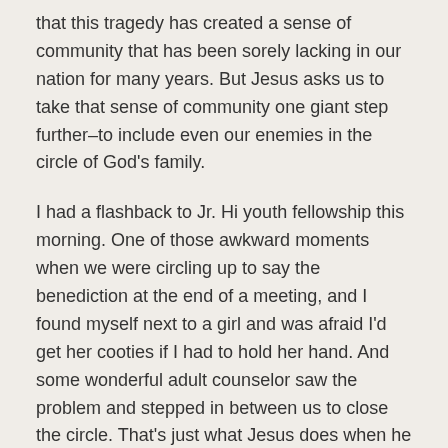that this tragedy has created a sense of community that has been sorely lacking in our nation for many years. But Jesus asks us to take that sense of community one giant step further–to include even our enemies in the circle of God's family.
I had a flashback to Jr. Hi youth fellowship this morning. One of those awkward moments when we were circling up to say the benediction at the end of a meeting, and I found myself next to a girl and was afraid I'd get her cooties if I had to hold her hand. And some wonderful adult counselor saw the problem and stepped in between us to close the circle. That's just what Jesus does when he asks us to love our enemies. When we can't bring ourselves to take that hand, Jesus steps in and completes the circle.
This doesn't mean that justice and order are not necessary for us to be able to live peaceful, secure lives